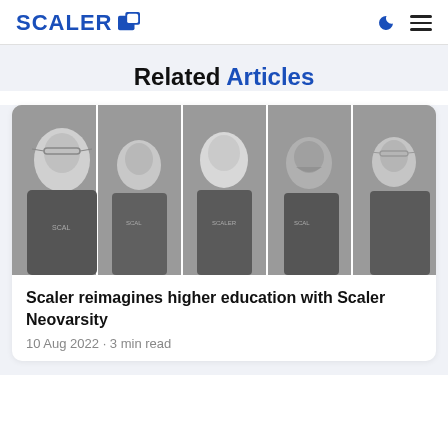SCALER
Related Articles
[Figure (photo): Black and white photo of five people standing side by side wearing Scaler branded t-shirts, arms crossed, smiling at the camera]
Scaler reimagines higher education with Scaler Neovarsity
10 Aug 2022 · 3 min read